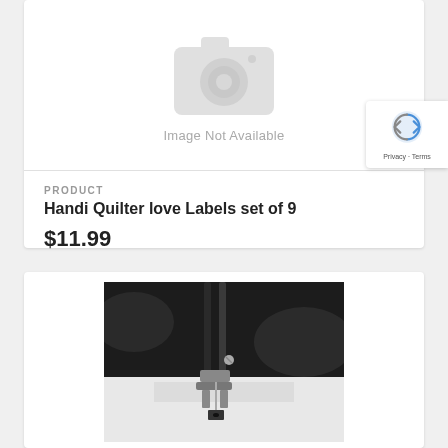[Figure (screenshot): Image not available placeholder with camera icon graphic]
Image Not Available
PRODUCT
Handi Quilter love Labels set of 9
$11.99
[Figure (photo): Close-up photo of a sewing machine needle and presser foot on white fabric]